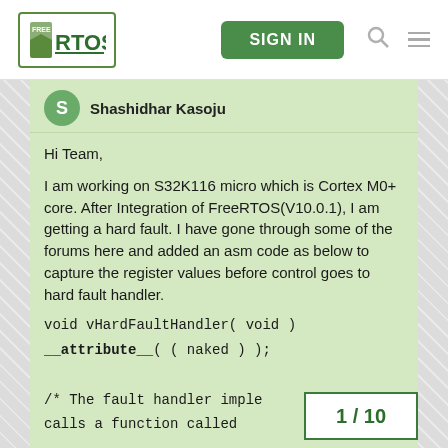[Figure (logo): FreeRTOS logo in green bordered box]
SIGN IN
Shashidhar Kasoju
Hi Team,

I am working on S32K116 micro which is Cortex M0+ core. After Integration of FreeRTOS(V10.0.1), I am getting a hard fault. I have gone through some of the forums here and added an asm code as below to capture the register values before control goes to hard fault handler.

void vHardFaultHandler( void )
__attribute__( ( naked ) );

/* The fault handler implementation calls a function called
1 / 10